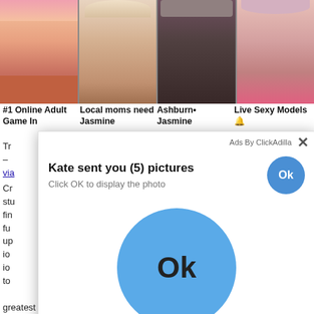[Figure (photo): Four adult content advertisement image thumbnails in a grid row at the top of the page]
#1 Online Adult Game In
Local moms need Jasmine
Ashburn• Jasmine
Live Sexy Models 🔔
Try – via
Cre stu fin fu up io io to
[Figure (screenshot): Popup ad dialog overlay: 'Kate sent you (5) pictures / Click OK to display the photo' with two OK buttons (small and large blue circle). Header shows 'Ads By ClickAdilla' with X close button. Footer label '2sd'.]
greatest sites. Couples and xxx desi students porn clips on